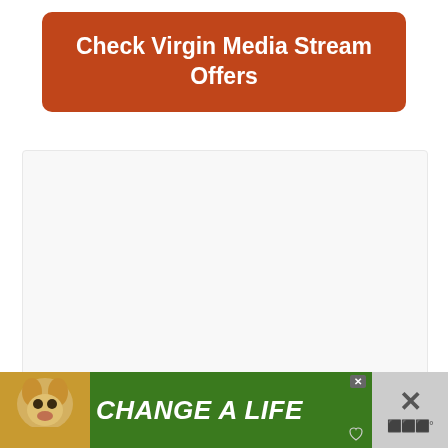Check Virgin Media Stream Offers
[Figure (other): Large light grey content placeholder box with three loading dots centered]
[Figure (other): Social action buttons: heart/like button (teal circle), count 73, share button (white circle)]
[Figure (other): Bottom advertisement banner with green background showing a dog photo and text CHANGE A LIFE with close buttons]